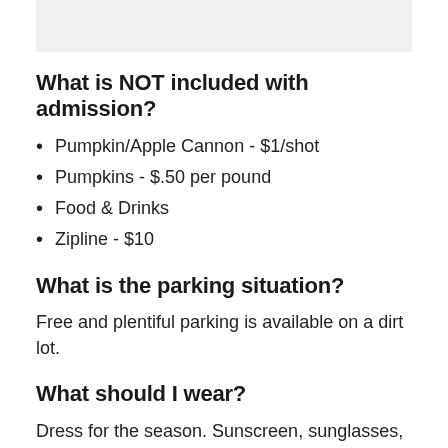What is NOT included with admission?
Pumpkin/Apple Cannon - $1/shot
Pumpkins - $.50 per pound
Food & Drinks
Zipline - $10
What is the parking situation?
Free and plentiful parking is available on a dirt lot.
What should I wear?
Dress for the season. Sunscreen, sunglasses, hats, and lightweight clothing are always a good idea in sunny Arizona. Comfortable, closed-toe shoes or boots are